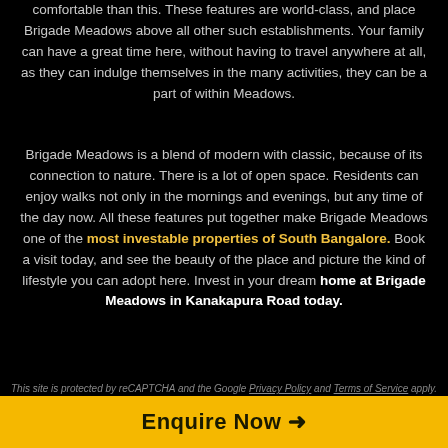comfortable than this. These features are world-class, and place Brigade Meadows above all other such establishments. Your family can have a great time here, without having to travel anywhere at all, as they can indulge themselves in the many activities, they can be a part of within Meadows.
Brigade Meadows is a blend of modern with classic, because of its connection to nature. There is a lot of open space. Residents can enjoy walks not only in the mornings and evenings, but any time of the day now. All these features put together make Brigade Meadows one of the most investable properties of South Bangalore. Book a visit today, and see the beauty of the place and picture the kind of lifestyle you can adopt here. Invest in your dream home at Brigade Meadows in Kanakapura Road today.
This site is protected by reCAPTCHA and the Google Privacy Policy and Terms of Service apply.
Enquire Now 🡺